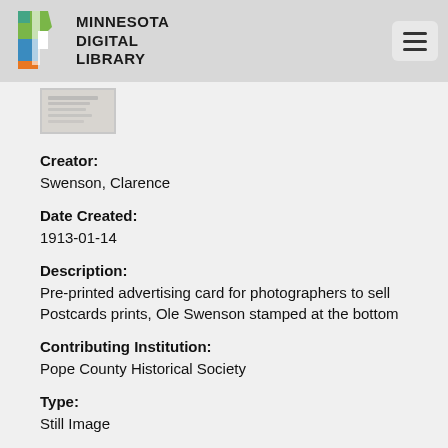MINNESOTA DIGITAL LIBRARY
[Figure (photo): Small blurry thumbnail of a document/postcard image]
Creator:
Swenson, Clarence
Date Created:
1913-01-14
Description:
Pre-printed advertising card for photographers to sell Postcards prints, Ole Swenson stamped at the bottom
Contributing Institution:
Pope County Historical Society
Type:
Still Image